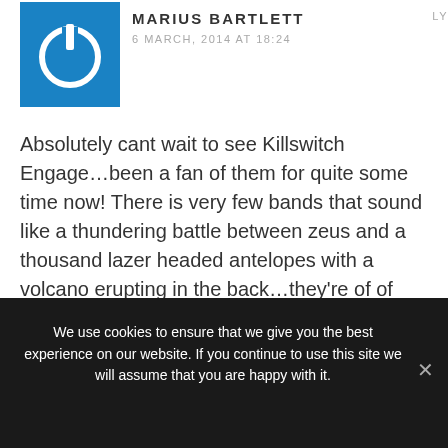[Figure (logo): Blue square avatar with white power/circle icon]
MARIUS BARTLETT
6 MARCH, 2014 AT 18:24
Absolutely cant wait to see Killswitch Engage…been a fan of them for quite some time now! There is very few bands that sound like a thundering battle between zeus and a thousand lazer headed antelopes with a volcano erupting in the back…they're of of them!
We use cookies to ensure that we give you the best experience on our website. If you continue to use this site we will assume that you are happy with it.